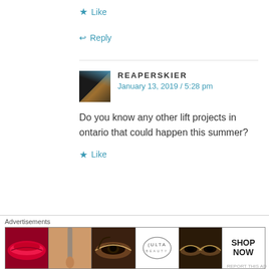★ Like
↩ Reply
REAPERSKIER
January 13, 2019 / 5:28 pm
Do you know any other lift projects in ontario that could happen this summer?
★ Like
MICHAEL
Advertisements
[Figure (illustration): Advertisement banner for ULTA beauty products showing lips, brush, eye, ULTA logo, eyes, and SHOP NOW text]